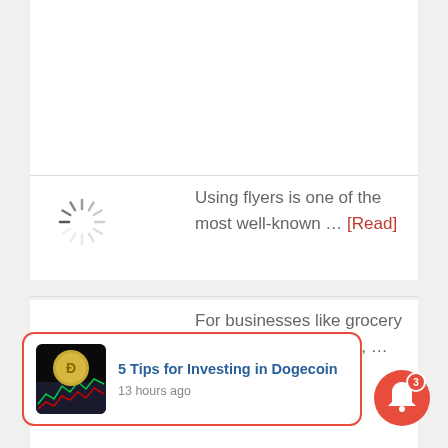Using flyers is one of the most well-known … [Read]
[Figure (other): Loading spinner icon (circular dashed spinner graphic)]
For businesses like grocery or convenience stores, … [Read]
[Figure (other): Close button X circle overlay]
5 Tips for Investing in Dogecoin
13 hours ago
[Figure (other): Notification bell button with badge count 3]